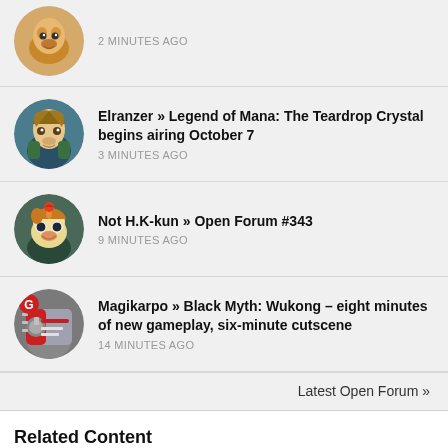2 MINUTES AGO
Elranzer » Legend of Mana: The Teardrop Crystal begins airing October 7 — 3 MINUTES AGO
Not H.K-kun » Open Forum #343 — 9 MINUTES AGO
Magikarpo » Black Myth: Wukong – eight minutes of new gameplay, six-minute cutscene — 14 MINUTES AGO
Latest Open Forum »
Related Content